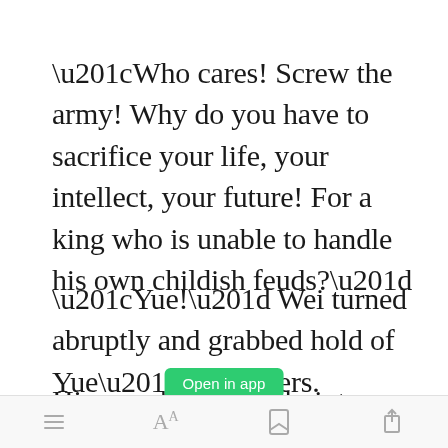“Who cares! Screw the army! Why do you have to sacrifice your life, your intellect, your future! For a king who is unable to handle his own childish feuds?”
“Yue!” Wei turned abruptly and grabbed hold of Yue’s shoulders.
His eyes bore sharply into Yue’s as
[Figure (screenshot): Green 'Open in app' button overlay]
Toolbar with menu, font size, bookmark, and share icons